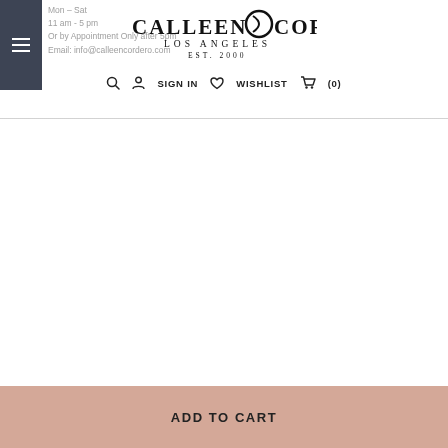Mon - Sat
11 am - 5 pm
Or by Appointment Only after 5pm
Email: info@calleencordero.com
[Figure (logo): Calleen Cordero Los Angeles Est. 2000 logo with circular emblem]
SIGN IN   WISHLIST   (0)
[Figure (photo): Product image area (blank/white)]
ADD TO CART